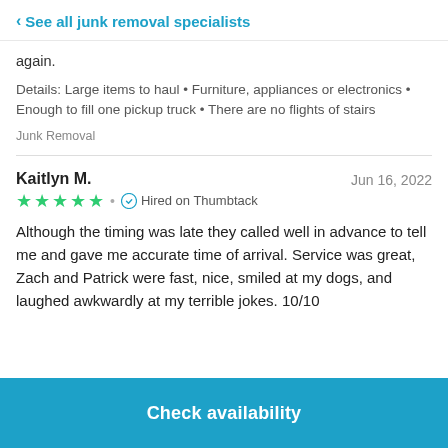< See all junk removal specialists
again.
Details: Large items to haul • Furniture, appliances or electronics • Enough to fill one pickup truck • There are no flights of stairs
Junk Removal
Kaitlyn M.    Jun 16, 2022
★★★★★ • Hired on Thumbtack
Although the timing was late they called well in advance to tell me and gave me accurate time of arrival. Service was great, Zach and Patrick were fast, nice, smiled at my dogs, and laughed awkwardly at my terrible jokes. 10/10
Check availability